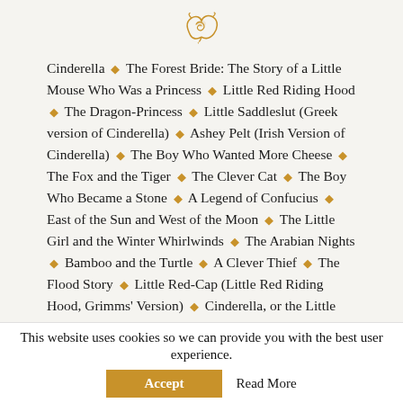[Figure (logo): Decorative golden/amber swirl/flourish logo at top center]
Cinderella ◆ The Forest Bride: The Story of a Little Mouse Who Was a Princess ◆ Little Red Riding Hood ◆ The Dragon-Princess ◆ Little Saddleslut (Greek version of Cinderella) ◆ Ashey Pelt (Irish Version of Cinderella) ◆ The Boy Who Wanted More Cheese ◆ The Fox and the Tiger ◆ The Clever Cat ◆ The Boy Who Became a Stone ◆ A Legend of Confucius ◆ East of the Sun and West of the Moon ◆ The Little Girl and the Winter Whirlwinds ◆ The Arabian Nights ◆ Bamboo and the Turtle ◆ A Clever Thief ◆ The Flood Story ◆ Little Red-Cap (Little Red Riding Hood, Grimms' Version) ◆ Cinderella, or the Little Glass Slipper ◆ Aladdin and
This website uses cookies so we can provide you with the best user experience.
Accept
Read More